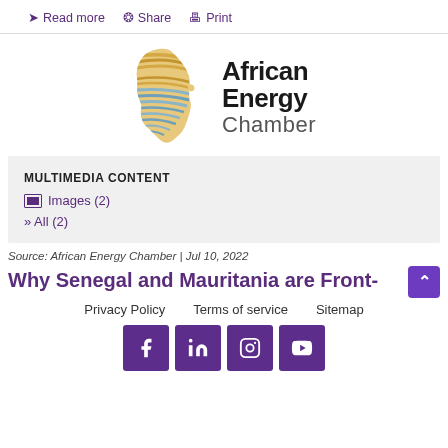→ Read more   Share   Print
[Figure (logo): African Energy Chamber logo: stylized Africa continent shape with zebra stripes in gold and blue/grey tones, with text 'African Energy Chamber' to the right]
MULTIMEDIA CONTENT
Images (2)
» All (2)
Source: African Energy Chamber | Jul 10, 2022
Why Senegal and Mauritania are Front-
Privacy Policy   Terms of service   Sitemap